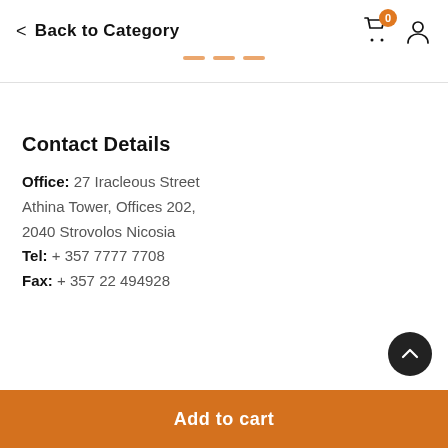< Back to Category
Contact Details
Office: 27 Iracleous Street Athina Tower, Offices 202, 2040 Strovolos Nicosia Tel: + 357 7777 7708 Fax: + 357 22 494928
Add to cart